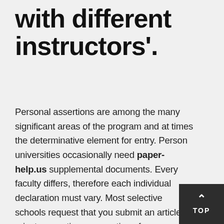with different instructors'.
Personal assertions are among the many significant areas of the program and at times the determinative element for entry. Person universities occasionally need paper-help.us supplemental documents. Every faculty differs, therefore each individual declaration must vary. Most selective schools request that you submit an article or private assertion as a portion of your program. Hence, State College isn't simply the ideal spot for me, it really is the only location for me. Only the finest authors are designed for address effectively over a protracted time period. It's quite vital to